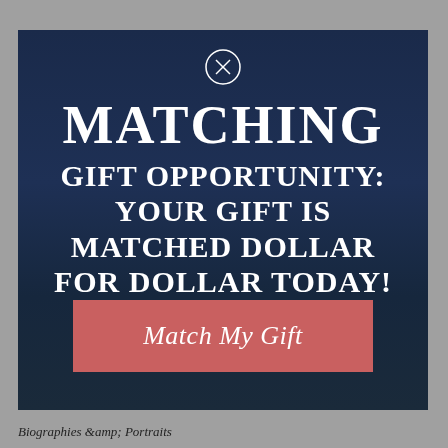[Figure (screenshot): A modal popup overlay on a dark navy background showing a matching gift opportunity message with a close (X) button at top, large uppercase text reading 'MATCHING GIFT OPPORTUNITY: YOUR GIFT IS MATCHED DOLLAR FOR DOLLAR TODAY!' and a salmon/red button labeled 'Match My Gift']
Biographies &amp; Portraits